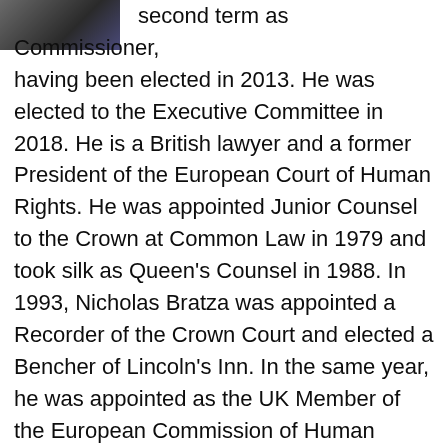[Figure (photo): Partial photograph of a person in dark clothing, cropped at top-left corner of the page.]
second term as Commissioner, having been elected in 2013. He was elected to the Executive Committee in 2018. He is a British lawyer and a former President of the European Court of Human Rights. He was appointed Junior Counsel to the Crown at Common Law in 1979 and took silk as Queen's Counsel in 1988. In 1993, Nicholas Bratza was appointed a Recorder of the Crown Court and elected a Bencher of Lincoln's Inn. In the same year, he was appointed as the UK Member of the European Commission of Human Rights, part of the European Convention on Human Rights system of the Council of Europe. In 1998, the Commission was abolished and replaced by a permanent European Court of Human Rights, and he was elected as the Judge of this Court representing the United Kingdom. In the same year, and again in 2001, he was elected as one of the five section presidents of the court. He was a vice-president of the court from 19 January